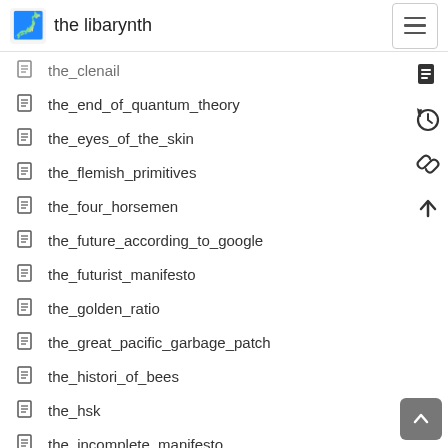the libarynth
the_clenail
the_end_of_quantum_theory
the_eyes_of_the_skin
the_flemish_primitives
the_four_horsemen
the_future_according_to_google
the_futurist_manifesto
the_golden_ratio
the_great_pacific_garbage_patch
the_histori_of_bees
the_hsk
the_incomplete_manifesto
the_internationale
the_invisibles
the_jackpot_years
the_lament_configuration
the_lebanese_rocket_society
the_left_hand_of_darkness
the_library_of_babel